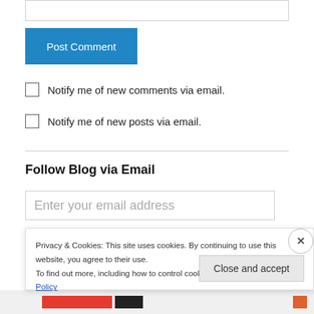[Figure (screenshot): Empty text input field at top of page]
Post Comment
Notify me of new comments via email.
Notify me of new posts via email.
Follow Blog via Email
[Figure (screenshot): Email address input field with placeholder text: Enter your email address]
Privacy & Cookies: This site uses cookies. By continuing to use this website, you agree to their use.
To find out more, including how to control cookies, see here: Cookie Policy
Close and accept